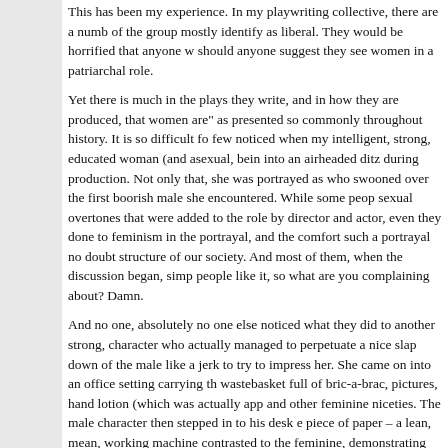This has been my experience. In my playwriting collective, there are a number of the group mostly identify as liberal. They would be horrified that anyone w should anyone suggest they see women in a patriarchal role.
Yet there is much in the plays they write, and in how they are produced, that women are" as presented so commonly throughout history. It is so difficult fo few noticed when my intelligent, strong, educated woman (and asexual, bein into an airheaded ditz during production. Not only that, she was portrayed as who swooned over the first boorish male she encountered. While some peop sexual overtones that were added to the role by director and actor, even they done to feminism in the portrayal, and the comfort such a portrayal no doubt structure of our society. And most of them, when the discussion began, simp people like it, so what are you complaining about? Damn.
And no one, absolutely no one else noticed what they did to another strong, character who actually managed to perpetuate a nice slap down of the male like a jerk to try to impress her. She came on into an office setting carrying th wastebasket full of bric-a-brac, pictures, hand lotion (which was actually app and other feminine niceties. The male character then stepped in to his desk e piece of paper – a lean, mean, working machine contrasted to the feminine, demonstrating that she put family and nurturing first by the pictures on the de piece, and I doubt it bothered him. He would say, like they all would say, well are caring and nurturing, men are stripped down and hungry. Surely you don After all, isn't it nice that women are like that, so they can make the world a b I'm sick of it. It is a subtle way of reminding us that women are more of an or working place, while men are the efficient go-getters.